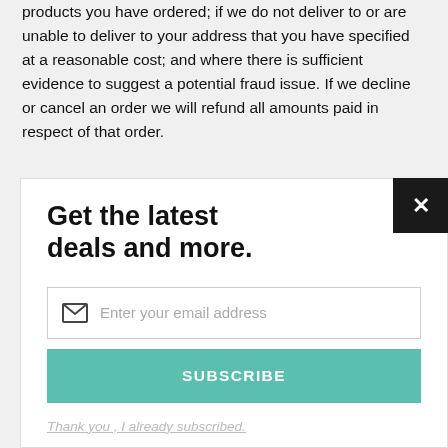products you have ordered; if we do not deliver to or are unable to deliver to your address that you have specified at a reasonable cost; and where there is sufficient evidence to suggest a potential fraud issue. If we decline or cancel an order we will refund all amounts paid in respect of that order.
Get the latest deals and more.
[Figure (screenshot): Email subscription modal with input field, subscribe button, and already-subscribed link]
Enter your email address
SUBSCRIBE
Thank you , I already subscribed.